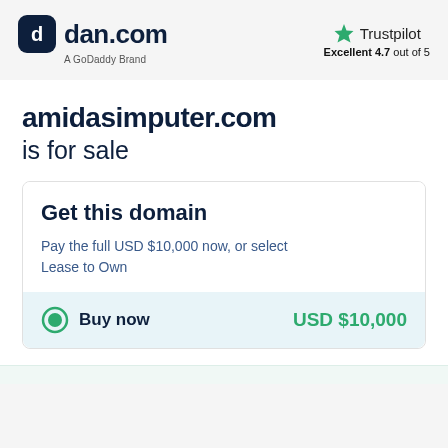[Figure (logo): dan.com logo with GoDaddy Brand tagline and Trustpilot Excellent 4.7 out of 5 rating]
amidasimputer.com is for sale
Get this domain
Pay the full USD $10,000 now, or select Lease to Own
Buy now   USD $10,000